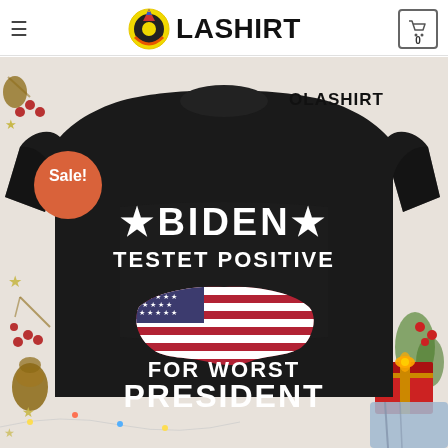OLASHIRT — hamburger menu, logo, cart (0)
[Figure (photo): Product photo of a black sweatshirt with text 'BIDEN TESTET POSITIVE FOR WORST PRESIDENT' and an American flag USA map graphic on the front. Sale badge in orange at top-left. OLASHIRT watermark at top-right. Decorative Christmas elements (pine cones, berries, stars, gift box) surrounding the sweatshirt.]